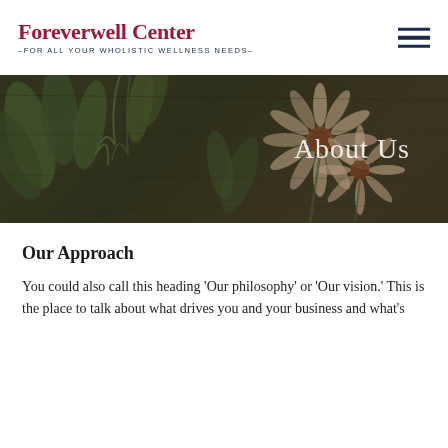Foreverwell Center –FOR ALL YOUR WHOLISTIC WELLNESS NEEDS–
[Figure (photo): Hero banner with herbs and flowers on a dark wooden background, with 'About Us' text overlay on the right side]
Our Approach
You could also call this heading 'Our philosophy' or 'Our vision.' This is the place to talk about what drives you and your business and what's